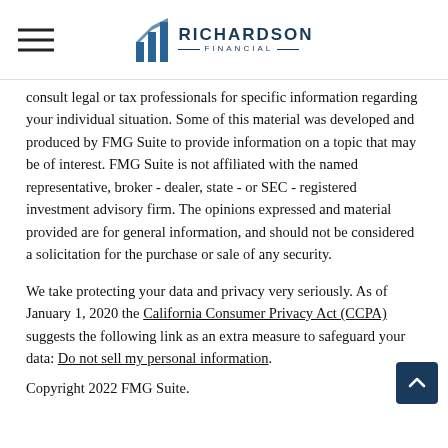Richardson Financial
consult legal or tax professionals for specific information regarding your individual situation. Some of this material was developed and produced by FMG Suite to provide information on a topic that may be of interest. FMG Suite is not affiliated with the named representative, broker - dealer, state - or SEC - registered investment advisory firm. The opinions expressed and material provided are for general information, and should not be considered a solicitation for the purchase or sale of any security.
We take protecting your data and privacy very seriously. As of January 1, 2020 the California Consumer Privacy Act (CCPA) suggests the following link as an extra measure to safeguard your data: Do not sell my personal information.
Copyright 2022 FMG Suite.